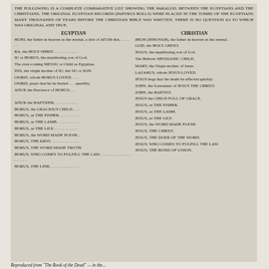THE FOLLOWING IS A COMPLETE COMPARATIVE LIST SHOWING THE PARALLEL BETWEEN THE EGYPTIANS AND THE CHRISTIANS. THE ORIGINAL EGYPTIAN RECORDS (PAPYRUS ROLLS) WERE PLACED IN THE TOMBS OF THE EGYPTIANS MANY THOUSANDS OF YEARS BEFORE THE CHRISTIAN BIBLE WAS WRITTEN. THERE IS NO QUESTION AS TO WHICH WAS ORIGINAL AND TRUE.
EGYPTIAN
CHRISTIAN
HUHI, the father in heaven as the eternal, a title of ATUM-RA. . . . . . .
IHUH (JEHOVAH), the father in heaven as the eternal.
RA, the HOLY SPIRIT. . . . . . . . . . . .
GOD, the HOLY GHOST.
IU or HORUS, the manifesting son of God.
JESUS, the manifesting son of God.
The ever-coming MESSU or Child as Egyptian.
The Hebrew MESSIANIC CHILD.
ISIS, the virgin mother of IU, her SU or SON.
MARY, the Virgin mother of Jesus.
OSIRIS, whom HORUS LOVED. . . .
LAZARUS, whom JESUS LOVED.
OSIRIS, prays that he be buried . . . speedily.
JESUS begs that his death be effected quickly.
ANUP, the Precursor of HORUS. . .
JOHN, the forerunner of JESUS THE CHRIST.
ANUP, the BAPTIZER. . . . . . . . . . .
JOHN, the BAPTIST.
HORUS, the GRACIOUS CHILD. . . .
JESUS the CHILD FULL OF GRACE.
HORUS, as THE FISHER. . . . . . . . .
JESUS, as THE FISHER.
HORUS, as THE LAMB. . . . . . . . . .
JESUS, as THE LAMB.
HORUS, as THE LILY. . . . . . . . . . .
JESUS, as THE LILY.
HORUS, the WORD MADE FLESH. .
JESUS, the WORD MADE FLESH.
HORUS, THE KRST. . . . . . . . . . . . .
JESUS, THE CHRIST.
HORUS, THE WORD MADE TRUTH.
JESUS, THE DOER OF THE WORD.
HORUS, WHO COMES TO FULFILL THE LAW. . . . . . . . . . . . . . . . . . . . .
JESUS, WHO COMES TO FULFILL THE LAW.
HORUS, THE LINK. . . . . . . . . . . . . .
JESUS, THE BOND OF UNION.
Reproduced from "The Book of the Dead" — in the...